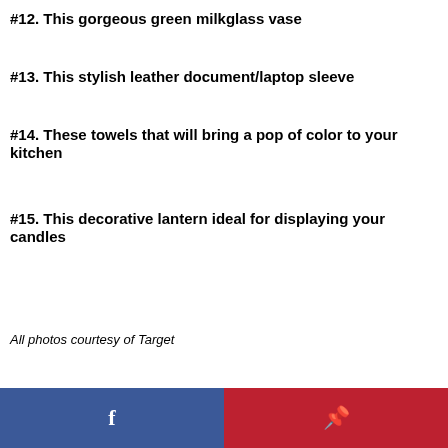#12. This gorgeous green milkglass vase
#13. This stylish leather document/laptop sleeve
#14. These towels that will bring a pop of color to your kitchen
#15. This decorative lantern ideal for displaying your candles
All photos courtesy of Target